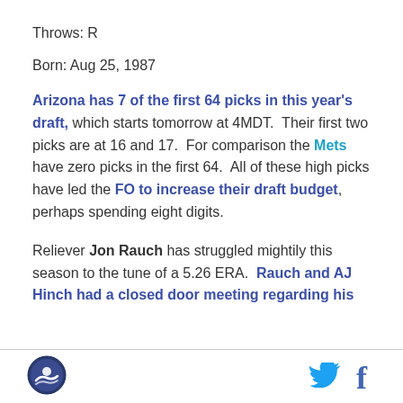Throws: R
Born: Aug 25, 1987
Arizona has 7 of the first 64 picks in this year's draft, which starts tomorrow at 4MDT. Their first two picks are at 16 and 17. For comparison the Mets have zero picks in the first 64. All of these high picks have led the FO to increase their draft budget, perhaps spending eight digits.
Reliever Jon Rauch has struggled mightily this season to the tune of a 5.26 ERA. Rauch and AJ Hinch had a closed door meeting regarding his
[Figure (logo): Circular logo with swimmer/person icon, dark blue border]
[Figure (logo): Twitter bird icon in cyan blue]
[Figure (logo): Facebook f icon in dark blue]